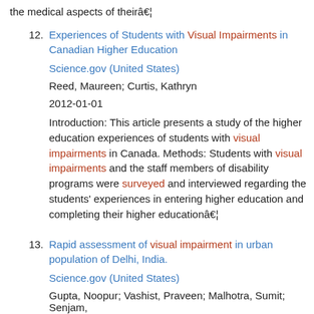the medical aspects of theirâ€¦
12. Experiences of Students with Visual Impairments in Canadian Higher Education
Science.gov (United States)
Reed, Maureen; Curtis, Kathryn
2012-01-01
Introduction: This article presents a study of the higher education experiences of students with visual impairments in Canada. Methods: Students with visual impairments and the staff members of disability programs were surveyed and interviewed regarding the students' experiences in entering higher education and completing their higher educationâ€¦
13. Rapid assessment of visual impairment in urban population of Delhi, India.
Science.gov (United States)
Gupta, Noopur; Vashist, Praveen; Malhotra, Sumit; Senjam,